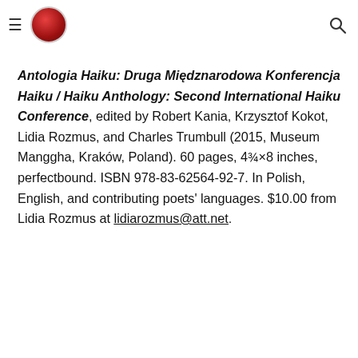[hamburger menu] [logo] [search icon]
Antologia Haiku: Druga Międznarodowa Konferencja Haiku / Haiku Anthology: Second International Haiku Conference, edited by Robert Kania, Krzysztof Kokot, Lidia Rozmus, and Charles Trumbull (2015, Museum Manggha, Kraków, Poland). 60 pages, 4¾×8 inches, perfectbound. ISBN 978-83-62564-92-7. In Polish, English, and contributing poets' languages. $10.00 from Lidia Rozmus at lidiarozmus@att.net.